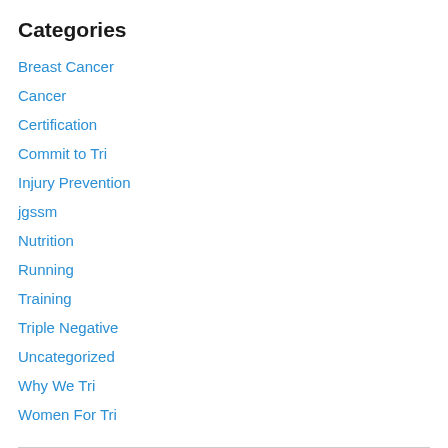Categories
Breast Cancer
Cancer
Certification
Commit to Tri
Injury Prevention
jgssm
Nutrition
Running
Training
Triple Negative
Uncategorized
Why We Tri
Women For Tri
Follow Blog via Email
Enter your email address to follow this blog and receive notifications of